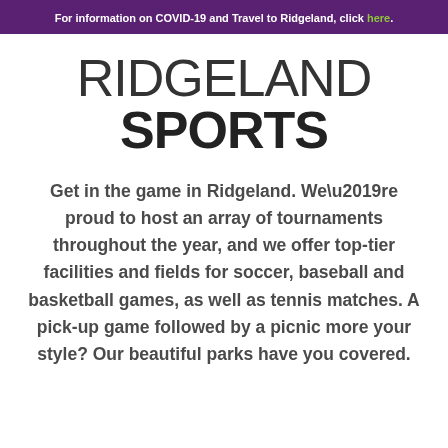For information on COVID-19 and Travel to Ridgeland, click here.
RIDGELAND SPORTS
Get in the game in Ridgeland. We’re proud to host an array of tournaments throughout the year, and we offer top-tier facilities and fields for soccer, baseball and basketball games, as well as tennis matches. A pick-up game followed by a picnic more your style? Our beautiful parks have you covered.